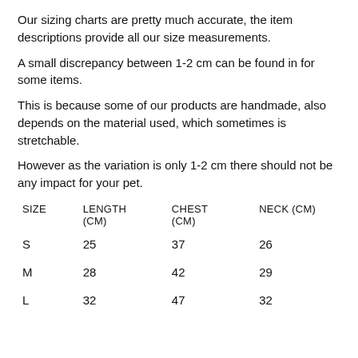Our sizing charts are pretty much accurate, the item descriptions provide all our size measurements.
A small discrepancy between 1-2 cm can be found in for some items.
This is because some of our products are handmade, also depends on the material used, which sometimes is stretchable.
However as the variation is only 1-2 cm there should not be any impact for your pet.
| SIZE | LENGTH (Cm) | CHEST (Cm) | NECK (Cm) |
| --- | --- | --- | --- |
| S | 25 | 37 | 26 |
| M | 28 | 42 | 29 |
| L | 32 | 47 | 32 |